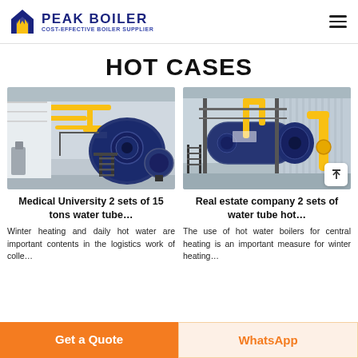[Figure (logo): Peak Boiler logo with blue flame/house icon and text 'PEAK BOILER / COST-EFFECTIVE BOILER SUPPLIER']
HOT CASES
[Figure (photo): Industrial boiler installation at a medical university - large dark blue water tube boiler with yellow pipes and black metal stairs in an industrial facility]
[Figure (photo): Industrial boiler installation at a real estate company - horizontal dark blue hot water boiler with yellow pipes and black metal stairs in a factory building]
Medical University 2 sets of 15 tons water tube…
Real estate company 2 sets of water tube hot…
Winter heating and daily hot water are important contents in the logistics work of colle…
The use of hot water boilers for central heating is an important measure for winter heating…
Get a Quote
WhatsApp